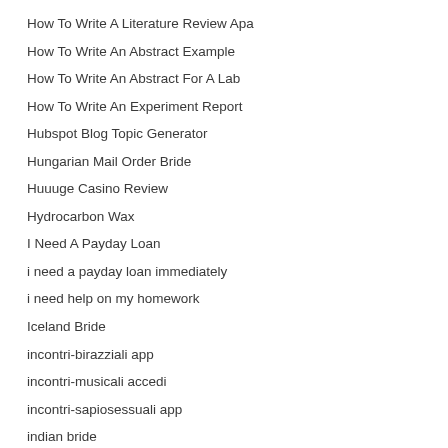How To Write A Literature Review Apa
How To Write An Abstract Example
How To Write An Abstract For A Lab
How To Write An Experiment Report
Hubspot Blog Topic Generator
Hungarian Mail Order Bride
Huuuge Casino Review
Hydrocarbon Wax
I Need A Payday Loan
i need a payday loan immediately
i need help on my homework
Iceland Bride
incontri-birazziali app
incontri-musicali accedi
incontri-sapiosessuali app
indian bride